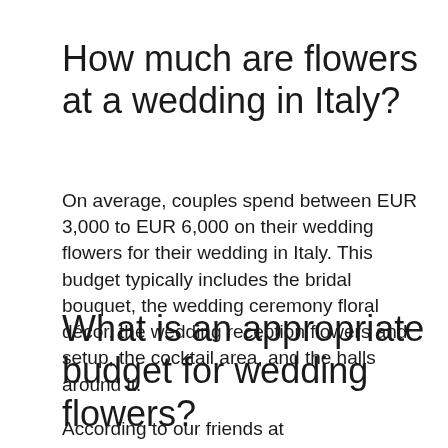How much are flowers at a wedding in Italy?
On average, couples spend between EUR 3,000 to EUR 6,000 on their wedding flowers for their wedding in Italy. This budget typically includes the bridal bouquet, the wedding ceremony floral décor, the wedding reception flowers and setup, the cocktail area, and the halls around it.
What is an appropriate budget for wedding flowers?
According to our friends at Weddingwire.com, the average cost of